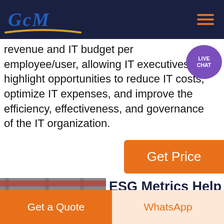GCM
revenue and IT budget per employee/user, allowing IT executives to highlight opportunities to reduce IT costs, optimize IT expenses, and improve the efficiency, effectiveness, and governance of the IT organization.
[Figure (other): Orange Get Price button on right side]
[Figure (photo): Industrial cable tray/conveyor equipment in a factory setting with GCM watermark]
ESG Metrics Help CFOs Attract New Investors, Reduce Costs
[Figure (other): Get a Quote orange button and WhatsApp button at bottom]